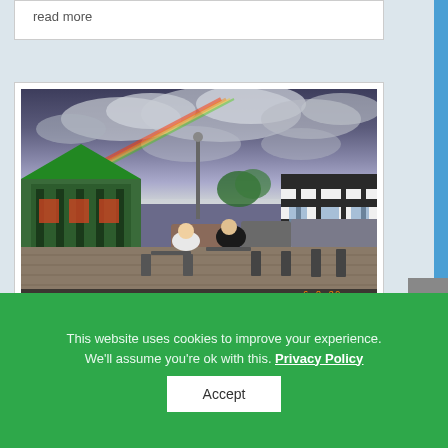read more
[Figure (photo): Outdoor street scene showing people seated at tables outside a pub/bar area. On the left is a green Tudor-style pub building with a rainbow lens flare effect in the foreground. On the right is a black and white Tudor-style building. Cars are parked in the background under a dramatic cloudy sky. A timestamp reads 6 8 20 in orange in the bottom right corner.]
This website uses cookies to improve your experience. We'll assume you're ok with this. Privacy Policy
Accept